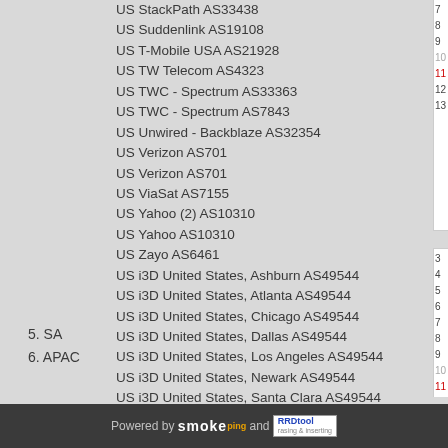US StackPath AS33438
US Suddenlink AS19108
US T-Mobile USA AS21928
US TW Telecom AS4323
US TWC - Spectrum AS33363
US TWC - Spectrum AS7843
US Unwired - Backblaze AS32354
US Verizon AS701
US Verizon AS701
US ViaSat AS7155
US Yahoo (2) AS10310
US Yahoo AS10310
US Zayo AS6461
US i3D United States, Ashburn AS49544
US i3D United States, Atlanta AS49544
US i3D United States, Chicago AS49544
US i3D United States, Dallas AS49544
US i3D United States, Los Angeles AS49544
US i3D United States, Newark AS49544
US i3D United States, Santa Clara AS49544
US i3D United States, Seattle AS49544
5. SA
6. APAC
Powered by smokeping and RRDtool